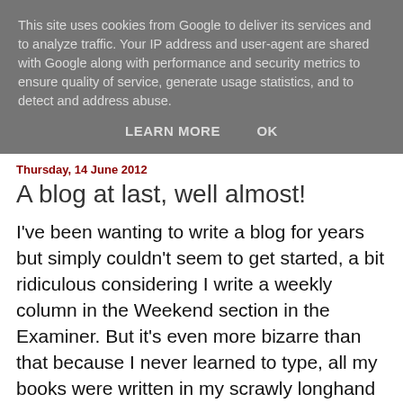This site uses cookies from Google to deliver its services and to analyze traffic. Your IP address and user-agent are shared with Google along with performance and security metrics to ensure quality of service, generate usage statistics, and to detect and address abuse.
LEARN MORE   OK
Thursday, 14 June 2012
A blog at last, well almost!
I've been wanting to write a blog for years but simply couldn't seem to get started, a bit ridiculous considering I write a weekly column in the Weekend section in the Examiner. But it's even more bizarre than that because I never learned to type, all my books were written in my scrawly longhand and then typed by my unfortunate secretaries, corrected, retyped and on and on and on......